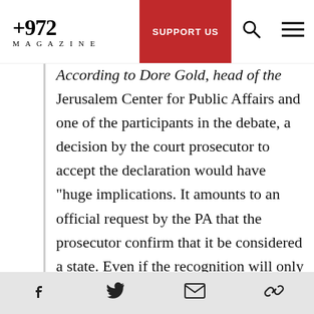+972 MAGAZINE — SUPPORT US
According to Dore Gold, head of the Jerusalem Center for Public Affairs and one of the participants in the debate, a decision by the court prosecutor to accept the declaration would have “huge implications. It amounts to an official request by the PA that the prosecutor confirm that it be considered a state. Even if the recognition will only apply to the ICC,” he said, “it will trigger a process of unilateralism which the PA is already considering which will undermine the
Social share icons: Facebook, Twitter, Email, Link